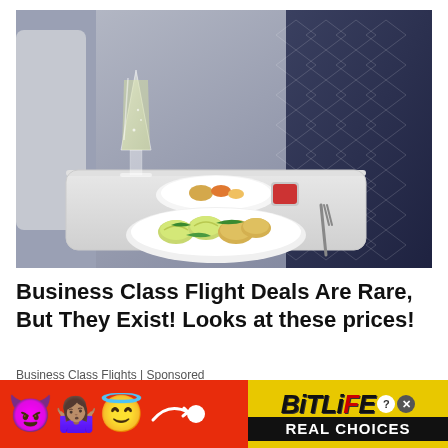[Figure (photo): Business class airplane tray table with dumplings, green vegetables, a small sauce cup, a second plate with food, and a glass of champagne. Blue patterned airplane seats are visible in the background.]
Business Class Flight Deals Are Rare, But They Exist! Looks at these prices!
Business Class Flights | Sponsored
[Figure (infographic): Red banner advertisement for BitLife game featuring devil emoji, person shrugging emoji, angel emoji, a swoosh arrow graphic, and the BitLife logo in yellow with 'REAL CHOICES' text on a black bar. Question mark and X close buttons visible.]